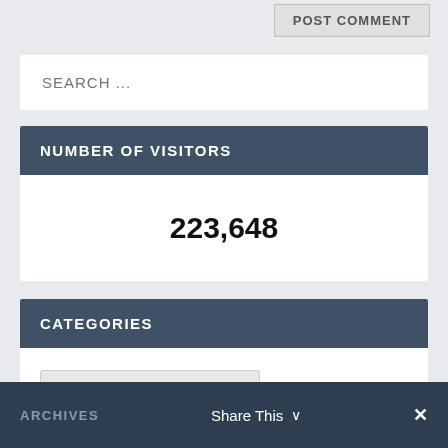POST COMMENT
SEARCH ...
NUMBER OF VISITORS
223,648
CATEGORIES
Select Category
ARCHIVES   Share This   ×